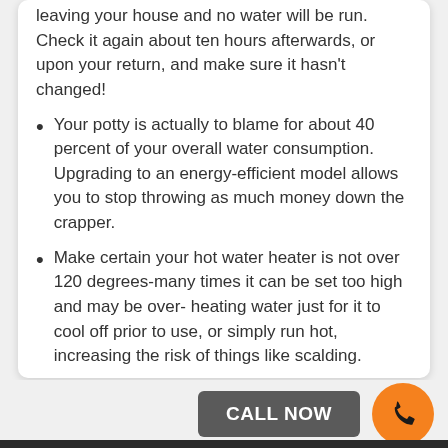leaving your house and no water will be run. Check it again about ten hours afterwards, or upon your return, and make sure it hasn't changed!
Your potty is actually to blame for about 40 percent of your overall water consumption. Upgrading to an energy-efficient model allows you to stop throwing as much money down the crapper.
Make certain your hot water heater is not over 120 degrees-many times it can be set too high and may be over- heating water just for it to cool off prior to use, or simply run hot, increasing the risk of things like scalding.
CALL NOW